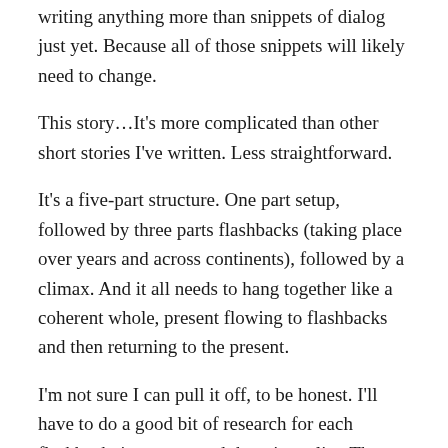writing anything more than snippets of dialog just yet. Because all of those snippets will likely need to change.
This story…It's more complicated than other short stories I've written. Less straightforward.
It's a five-part structure. One part setup, followed by three parts flashbacks (taking place over years and across continents), followed by a climax. And it all needs to hang together like a coherent whole, present flowing to flashbacks and then returning to the present.
I'm not sure I can pull it off, to be honest. I'll have to do a good bit of research for each flashback, just to ground them in reality. Then there's the problem of each flashback needing to be its own story, complete with character arc, while feeding into the larger narrative.